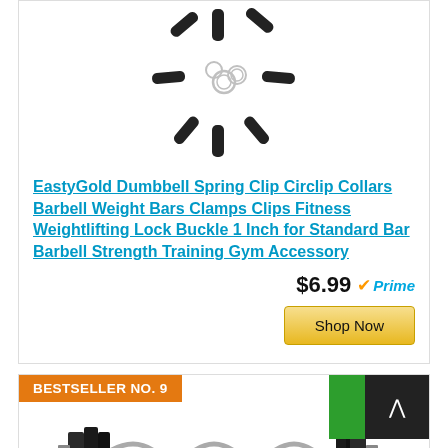[Figure (photo): Product image of spring clip circlip collars arranged in a star/sunburst pattern, black rubber handles with silver metal rings]
EastyGold Dumbbell Spring Clip Circlip Collars Barbell Weight Bars Clamps Clips Fitness Weightlifting Lock Buckle 1 Inch for Standard Bar Barbell Strength Training Gym Accessory
$6.99
Prime
Shop Now
BESTSELLER NO. 9
[Figure (photo): Product image of a curl barbell (EZ bar) with weight plates on each end, chrome bar with black plates]